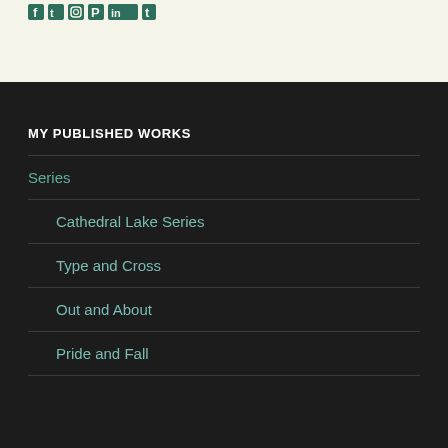Social icons: Facebook, Twitter, Instagram, Pinterest, LinkedIn, Tumblr
MY PUBLISHED WORKS
Series
Cathedral Lake Series
Type and Cross
Out and About
Pride and Fall